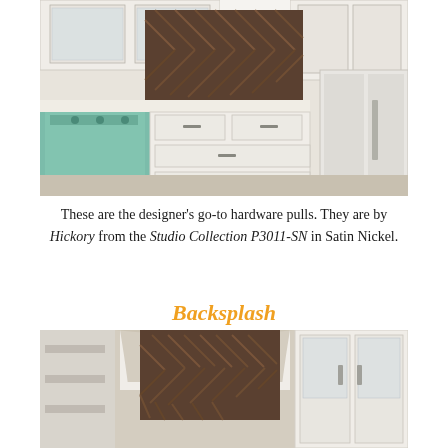[Figure (photo): Kitchen interior showing white cabinets with hardware pulls, a teal/mint colored range with herringbone wood backsplash above, and a stainless steel refrigerator on the right.]
These are the designer’s go-to hardware pulls. They are by Hickory from the Studio Collection P3011-SN in Satin Nickel.
Backsplash
[Figure (photo): Close-up interior view showing herringbone wood backsplash pattern on a kitchen range hood, with white cabinetry and glass-front cabinet doors visible.]